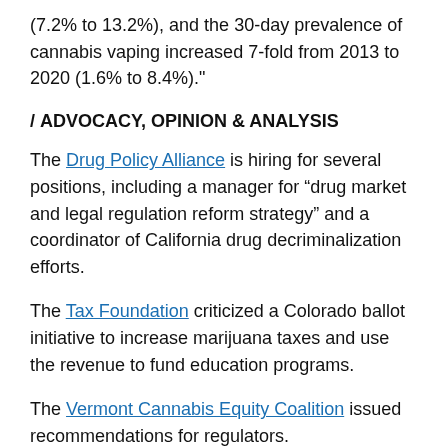(7.2% to 13.2%), and the 30-day prevalence of cannabis vaping increased 7-fold from 2013 to 2020 (1.6% to 8.4%)."
/ ADVOCACY, OPINION & ANALYSIS
The Drug Policy Alliance is hiring for several positions, including a manager for “drug market and legal regulation reform strategy” and a coordinator of California drug decriminalization efforts.
The Tax Foundation criticized a Colorado ballot initiative to increase marijuana taxes and use the revenue to fund education programs.
The Vermont Cannabis Equity Coalition issued recommendations for regulators.
/ BUSINESS